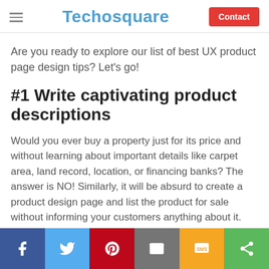Techosquare | Contact
Are you ready to explore our list of best UX product page design tips? Let's go!
#1 Write captivating product descriptions
Would you ever buy a property just for its price and without learning about important details like carpet area, land record, location, or financing banks? The answer is NO! Similarly, it will be absurd to create a product design page and list the product for sale without informing your customers anything about it.
Social share icons: Facebook, Twitter, Pinterest, Email, SMS, Share